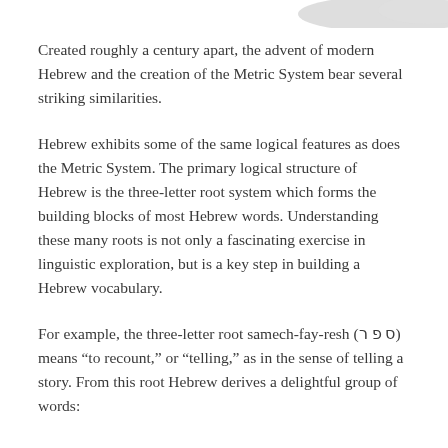[Figure (illustration): Partial illustration/image visible at top-right corner of the page, cropped at page edge — appears to be a light gray/white abstract shape or graphic element.]
Created roughly a century apart, the advent of modern Hebrew and the creation of the Metric System bear several striking similarities.
Hebrew exhibits some of the same logical features as does the Metric System. The primary logical structure of Hebrew is the three-letter root system which forms the building blocks of most Hebrew words. Understanding these many roots is not only a fascinating exercise in linguistic exploration, but is a key step in building a Hebrew vocabulary.
For example, the three-letter root samech-fay-resh (ס פ ר) means “to recount,” or “telling,” as in the sense of telling a story. From this root Hebrew derives a delightful group of words: